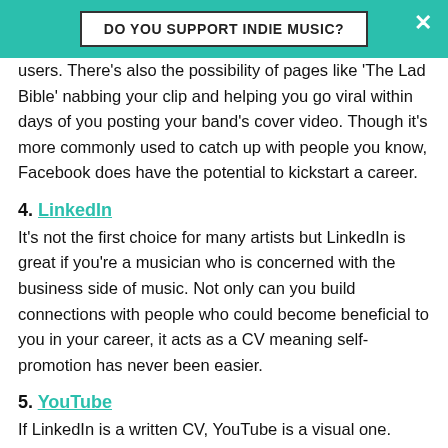DO YOU SUPPORT INDIE MUSIC?
users. There's also the possibility of pages like 'The Lad Bible' nabbing your clip and helping you go viral within days of you posting your band's cover video. Though it's more commonly used to catch up with people you know, Facebook does have the potential to kickstart a career.
4. LinkedIn
It's not the first choice for many artists but LinkedIn is great if you're a musician who is concerned with the business side of music. Not only can you build connections with people who could become beneficial to you in your career, it acts as a CV meaning self-promotion has never been easier.
5. YouTube
If LinkedIn is a written CV, YouTube is a visual one. YouTube is a popular tool for discovering new music and an easy way for